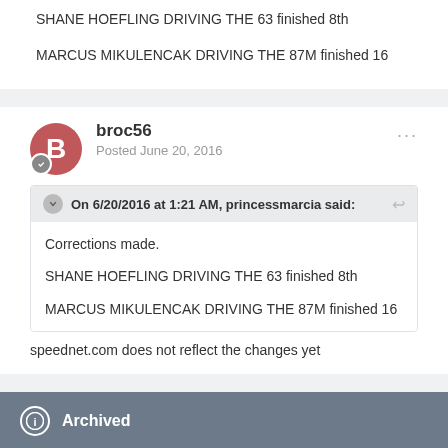SHANE HOEFLING DRIVING THE 63 finished 8th
MARCUS MIKULENCAK DRIVING THE 87M finished 16
broc56
Posted June 20, 2016
On 6/20/2016 at 1:21 AM, princessmarcia said:
Corrections made.

SHANE HOEFLING DRIVING THE 63 finished 8th

MARCUS MIKULENCAK DRIVING THE 87M finished 16
speednet.com does not reflect the changes yet
Archived